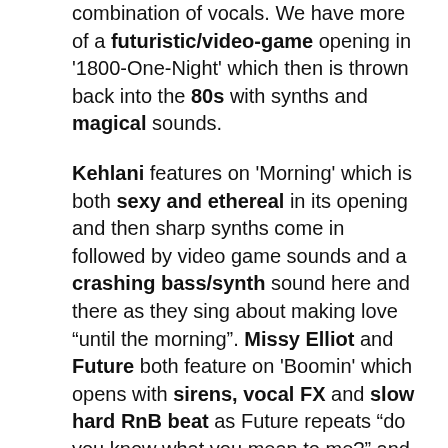combination of vocals. We have more of a futuristic/video-game opening in '1800-One-Night' which then is thrown back into the 80s with synths and magical sounds.
Kehlani features on 'Morning' which is both sexy and ethereal in its opening and then sharp synths come in followed by video game sounds and a crashing bass/synth sound here and there as they sing about making love "until the morning". Missy Elliot and Future both feature on 'Boomin' which opens with sirens, vocal FX and slow hard RnB beat as Future repeats "do you know what you mean to me?" and she tells him what she can do to him in bed. '69' opens with a quirky collaboration of instrumentals and stop-start beats. The only fluid thing would be her vocals as she sings again about…sex (I mean why not?). I really love the beat, vocals and atmospheric backing in 'Killz' (ft. DaVido) — this might be my favourite one